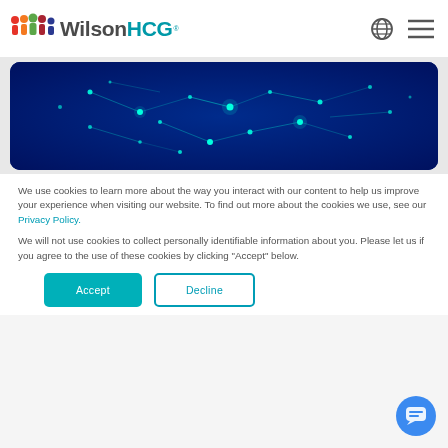WilsonHCG
[Figure (photo): Aerial/satellite view of city lights network on dark blue background, glowing cyan/teal connections over Europe map]
We use cookies to learn more about the way you interact with our content to help us improve your experience when visiting our website. To find out more about the cookies we use, see our Privacy Policy.
We will not use cookies to collect personally identifiable information about you. Please let us if you agree to the use of these cookies by clicking "Accept" below.